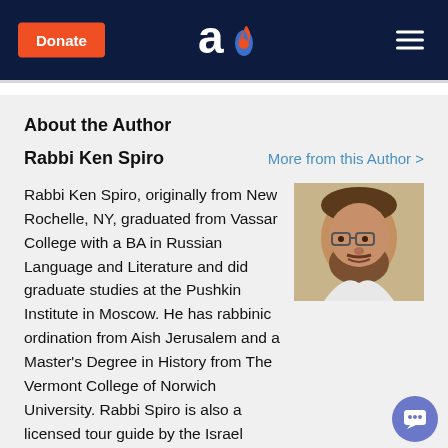Donate | [Aish logo] | [Menu]
About the Author
Rabbi Ken Spiro    More from this Author >
[Figure (photo): Headshot photo of Rabbi Ken Spiro, a bearded middle-aged man wearing glasses, seated against a light background.]
Rabbi Ken Spiro, originally from New Rochelle, NY, graduated from Vassar College with a BA in Russian Language and Literature and did graduate studies at the Pushkin Institute in Moscow. He has rabbinic ordination from Aish Jerusalem and a Master's Degree in History from The Vermont College of Norwich University. Rabbi Spiro is also a licensed tour guide by the Israel Ministry of Tourism. He has appeared on numerous radio and